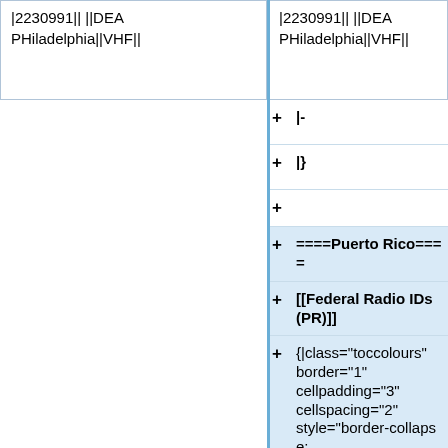|2230991|| ||DEA PHiladelphia||VHF||
|2230991|| ||DEA PHiladelphia||VHF||
+|-
+|}
+
+====Puerto Rico====
+[[Federal Radio IDs (PR)]]
{|class="toccolours" border="1" cellpadding="3" cellspacing="2" style="border-collapse: collapse; background-color: #F0F0F0; font-family: Tahoma, sans-serif; FONT-SIZE: 11px; padding: 3px; border: 1px solid